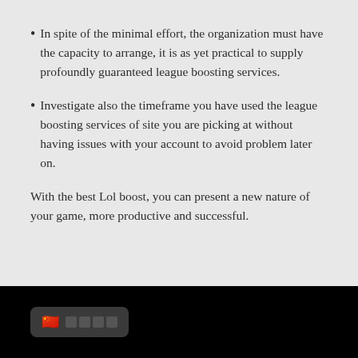In spite of the minimal effort, the organization must have the capacity to arrange, it is as yet practical to supply profoundly guaranteed league boosting services.
Investigate also the timeframe you have used the league boosting services of site you are picking at without having issues with your account to avoid problem later on.
With the best Lol boost, you can present a new nature of your game, more productive and successful.
[Figure (other): Language selection widget showing Chinese flag emoji and placeholder text boxes on a dark background bar.]